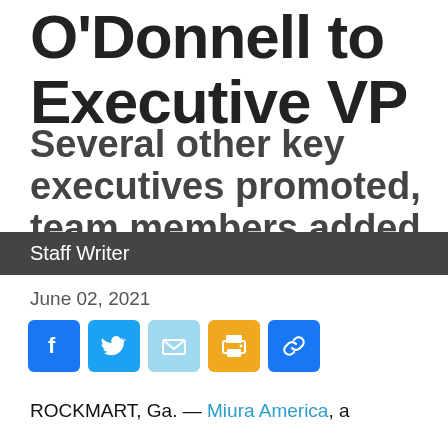O'Donnell to Executive VP
Several other key executives promoted, team members added
Staff Writer
June 02, 2021
[Figure (infographic): Social media sharing icons: Facebook (blue), Twitter (blue), Email (light blue), Print (orange/yellow), Link (blue)]
ROCKMART, Ga. — Miura America, a